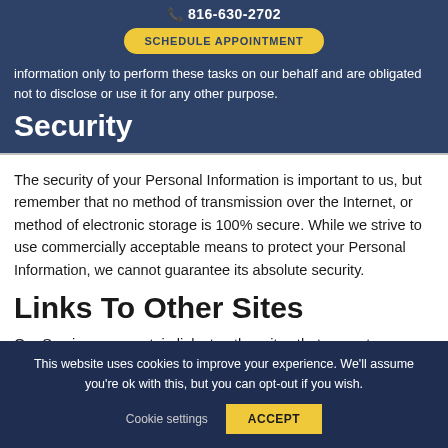information only to perform these tasks on our behalf and are obligated not to disclose or use it for any other purpose.
816-630-2702  SCHEDULE APPOINTMENT
Security
The security of your Personal Information is important to us, but remember that no method of transmission over the Internet, or method of electronic storage is 100% secure. While we strive to use commercially acceptable means to protect your Personal Information, we cannot guarantee its absolute security.
Links To Other Sites
Our Service may contain links to other sites that are not
This website uses cookies to improve your experience. We'll assume you're ok with this, but you can opt-out if you wish.
Cookie settings  ACCEPT